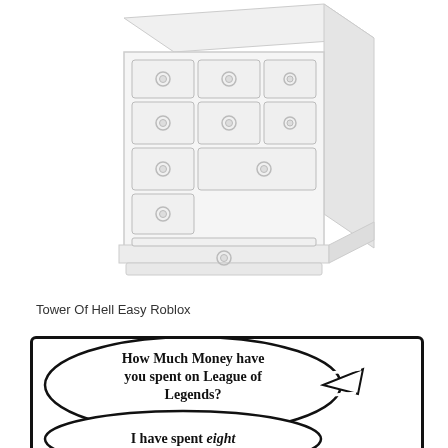[Figure (illustration): A white chest of drawers / dresser with multiple drawers and round knobs, shown in a light blurred style]
Tower Of Hell Easy Roblox
[Figure (illustration): Comic panel with two speech bubbles. First bubble: 'How Much Money have you spent on League of Legends?' Second bubble (partially visible): 'I have spent eight']